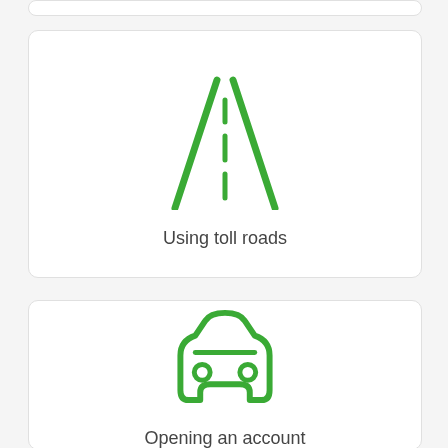[Figure (illustration): Card with a road/toll road icon (two converging lines with dashed center line) in green]
Using toll roads
[Figure (illustration): Card with a car/vehicle icon viewed from front in green]
Opening an account